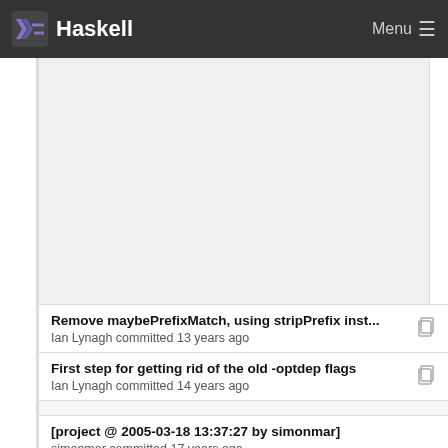Haskell  Menu
Remove maybePrefixMatch, using stripPrefix inst...
Ian Lynagh committed 13 years ago
First step for getting rid of the old -optdep flags
Ian Lynagh committed 14 years ago
[project @ 2005-03-18 13:37:27 by simonmar]
simonmar committed 17 years ago
Refactor Haddock options
David Waern committed 14 years ago